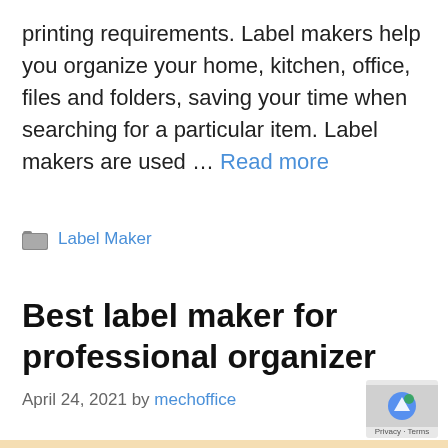printing requirements. Label makers help you organize your home, kitchen, office, files and folders, saving your time when searching for a particular item. Label makers are used … Read more
Label Maker
Best label maker for professional organizer
April 24, 2021 by mechoffice